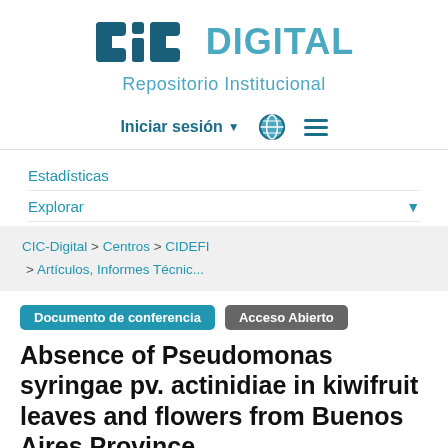[Figure (logo): CIC Digital - Repositorio Institucional logo with teal colored letters and subtitle]
Iniciar sesión ▾ 🌐 ≡
Estadísticas
Explorar
CIC-Digital > Centros > CIDEFI > Artículos, Informes Técnic...
Documento de conferencia   Acceso Abierto
Absence of Pseudomonas syringae pv. actinidiae in kiwifruit leaves and flowers from Buenos Aires Province, Argentina